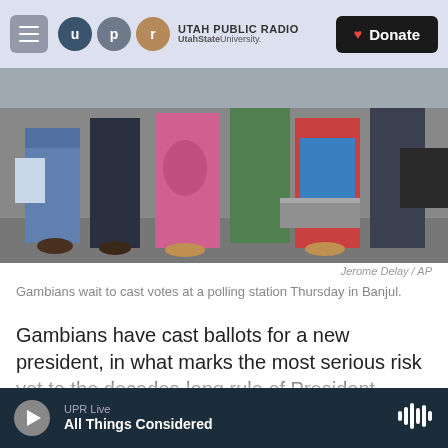Utah Public Radio — UtahStateUniversity. | Donate
[Figure (photo): People standing at a polling station in Banjul, Gambia, seen from the waist down, wearing colorful traditional clothing.]
Jerome Delay / AP
Gambians wait to cast votes at a polling station Thursday in Banjul.
Gambians have cast ballots for a new president, in what marks the most serious risk yet to the decades-long rule of President Yahya Jammeh.
The voting happened amid a blackout on Internet and international phone calls, as NPR's Ofeibea
UPR Live
All Things Considered